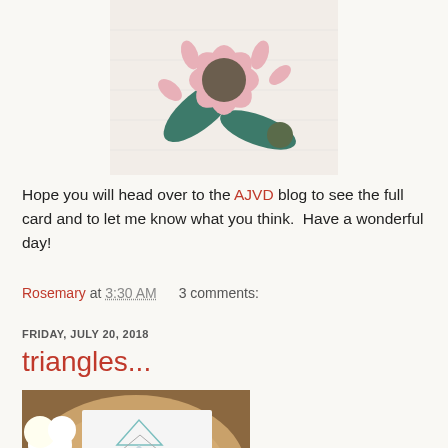[Figure (photo): Close-up of a pink flower embellishment with teal/dark green leaves on a quilted or textured surface]
Hope you will head over to the AJVD blog to see the full card and to let me know what you think.  Have a wonderful day!
Rosemary at 3:30 AM    3 comments:
FRIDAY, JULY 20, 2018
triangles...
[Figure (photo): Card with geometric triangle design placed on a wood slice, with white flowers in the background]